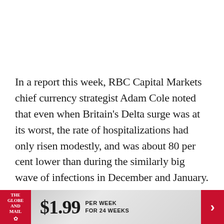In a report this week, RBC Capital Markets chief currency strategist Adam Cole noted that even when Britain's Delta surge was at its worst, the rate of hospitalizations had only risen modestly, and was about 80 per cent lower than during the similarly big wave of infections in December and January.
“As a test case of how a highly vaccinated country stands up to the Delta variant becoming the
[Figure (other): The Globe and Mail subscription banner: logo on red background on the left, '$1.99 PER WEEK FOR 24 WEEKS' in the center, red arrow button on the right]